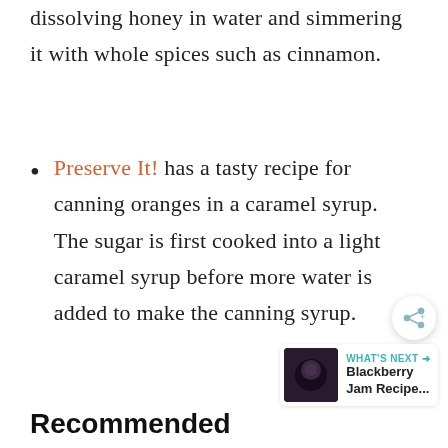dissolving honey in water and simmering it with whole spices such as cinnamon.
Preserve It! has a tasty recipe for canning oranges in a caramel syrup. The sugar is first cooked into a light caramel syrup before more water is added to make the canning syrup.
Recommended